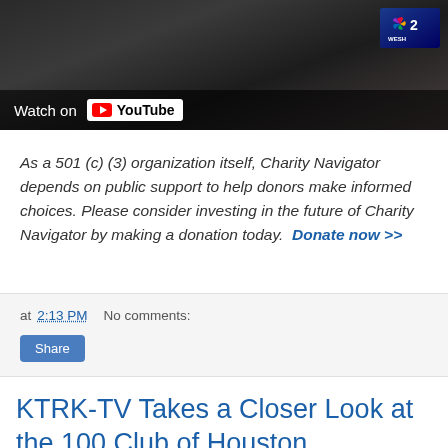[Figure (screenshot): YouTube video thumbnail showing dark asphalt surface with WESH 2 NBC logo badge in top right corner. Black overlay bar at bottom reads 'Watch on YouTube' with YouTube play button logo.]
As a 501 (c) (3) organization itself, Charity Navigator depends on public support to help donors make informed choices. Please consider investing in the future of Charity Navigator by making a donation today.  Donate now >>
at 2:13 PM   No comments:
KTRK-TV Takes a Closer Look at the 100 Club of Houston